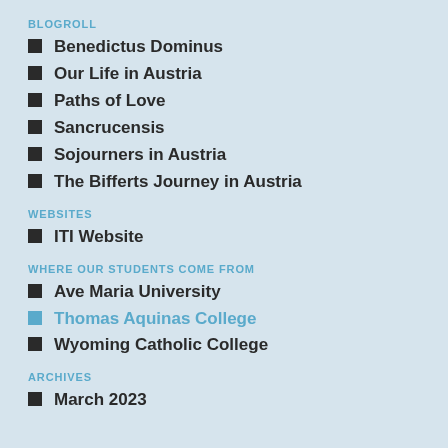BLOGROLL
Benedictus Dominus
Our Life in Austria
Paths of Love
Sancrucensis
Sojourners in Austria
The Bifferts Journey in Austria
WEBSITES
ITI Website
WHERE OUR STUDENTS COME FROM
Ave Maria University
Thomas Aquinas College
Wyoming Catholic College
ARCHIVES
March 2023